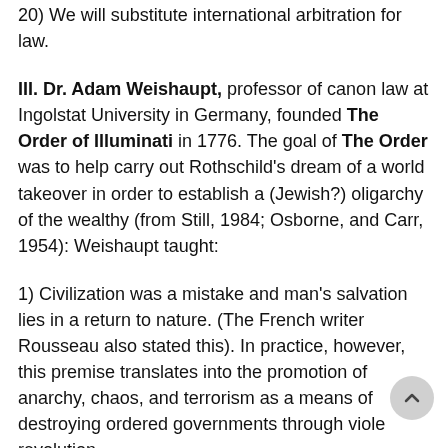20) We will substitute international arbitration for law.
III. Dr. Adam Weishaupt, professor of canon law at Ingolstat University in Germany, founded The Order of Illuminati in 1776. The goal of The Order was to help carry out Rothschild's dream of a world takeover in order to establish a (Jewish?) oligarchy of the wealthy (from Still, 1984; Osborne, and Carr, 1954): Weishaupt taught:
1) Civilization was a mistake and man's salvation lies in a return to nature. (The French writer Rousseau also stated this). In practice, however, this premise translates into the promotion of anarchy, chaos, and terrorism as a means of destroying ordered governments through viole revolution.